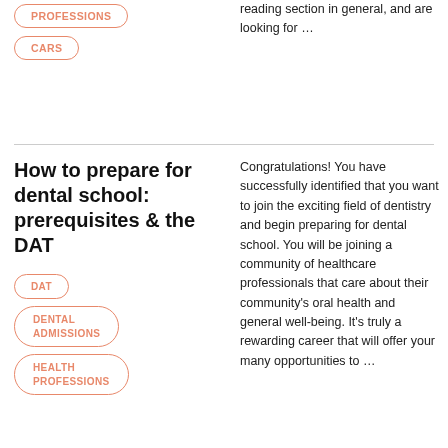PROFESSIONS
CARS
reading section in general, and are looking for …
How to prepare for dental school: prerequisites & the DAT
DAT
DENTAL ADMISSIONS
HEALTH PROFESSIONS
Congratulations! You have successfully identified that you want to join the exciting field of dentistry and begin preparing for dental school. You will be joining a community of healthcare professionals that care about their community's oral health and general well-being. It's truly a rewarding career that will offer your many opportunities to …